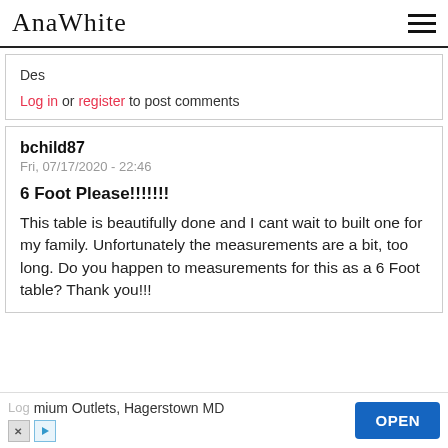AnaWhite
Des
Log in or register to post comments
bchild87
Fri, 07/17/2020 - 22:46
6 Foot Please!!!!!!!
This table is beautifully done and I cant wait to built one for my family. Unfortunately the measurements are a bit, too long. Do you happen to measurements for this as a 6 Foot table? Thank you!!!
Log    mium Outlets, Hagerstown MD   OPEN